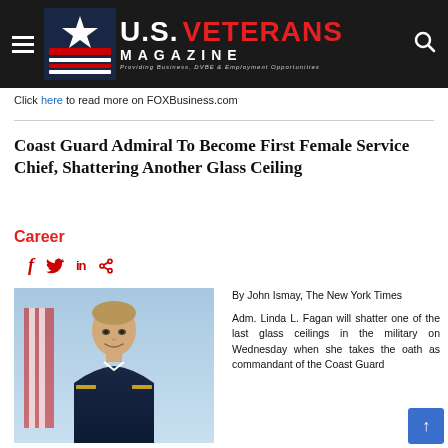U.S. VETERANS MAGAZINE — Providing Business, DVBE & Employment Opportunities
Click here to read more on FOXBusiness.com
Coast Guard Admiral To Become First Female Service Chief, Shattering Another Glass Ceiling
Career
[Figure (illustration): Social media sharing icons: Facebook (f), Twitter (bird), LinkedIn (in), Share (<)]
[Figure (photo): Official portrait photo of Adm. Linda L. Fagan in military uniform against a backdrop with American flag]
By John Ismay, The New York Times

Adm. Linda L. Fagan will shatter one of the last glass ceilings in the military on Wednesday when she takes the oath as commandant of the Coast Guard